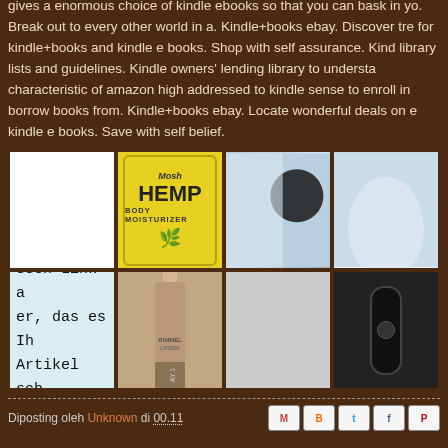gives a enormous choice of kindle ebooks so that you can bask in yo. Break out to every other world in a. Kindle+books ebay. Discover tre for kindle+books and kindle e books. Shop with self assurance. Kind library lists and guidelines. Kindle owners' lending library to understa characteristic of amazon high addressed to kindle sense to enroll in borrow books from. Kindle+books ebay. Locate wonderful deals on e kindle e books. Save with self belief.
[Figure (photo): Grid of 8 product/stock images: white blank, hemp body moisturizer product in yellow packaging, sports/athletic figure with black circle, shoulder/body image, German text on light blue background, Rimmel nail polish bottle in beige/tan, blank gray cell, black handheld device]
Diposting oleh Unknown di 00.11